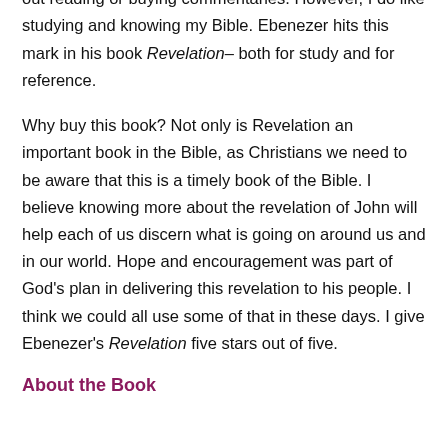honest, I am not a commentary kind of guy.  I don't go out reading or buying commentaries.  However, I do like studying and knowing my Bible.  Ebenezer hits this mark in his book Revelation– both for study and for reference.
Why buy this book? Not only is Revelation an important book in the Bible, as Christians we need to be aware that this is a timely book of the Bible.  I believe knowing more about the revelation of John will help each of us discern what is going on around us and in our world.  Hope and encouragement was part of God's plan in delivering this revelation to his people. I think we could all use some of that in these days. I give Ebenezer's Revelation five stars out of five.
About the Book